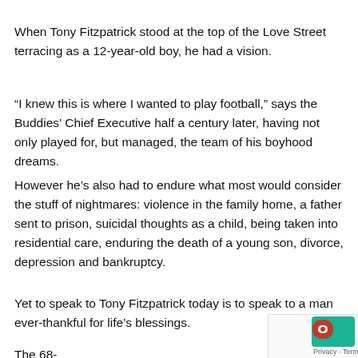When Tony Fitzpatrick stood at the top of the Love Street terracing as a 12-year-old boy, he had a vision.
“I knew this is where I wanted to play football,” says the Buddies’ Chief Executive half a century later, having not only played for, but managed, the team of his boyhood dreams.
However he’s also had to endure what most would consider the stuff of nightmares: violence in the family home, a father sent to prison, suicidal thoughts as a child, being taken into residential care, enduring the death of a young son, divorce, depression and bankruptcy.
Yet to speak to Tony Fitzpatrick today is to speak to a man ever-thankful for life’s blessings.
The 68-year-old his incredible journey...